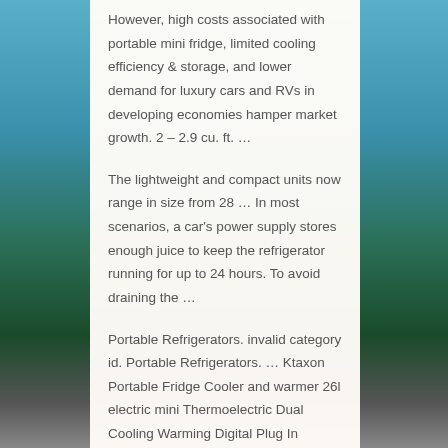However, high costs associated with portable mini fridge, limited cooling efficiency & storage, and lower demand for luxury cars and RVs in developing economies hamper market growth. 2 – 2.9 cu. ft. …
The lightweight and compact units now range in size from 28 … In most scenarios, a car's power supply stores enough juice to keep the refrigerator running for up to 24 hours. To avoid draining the …
Portable Refrigerators. invalid category id. Portable Refrigerators. … Ktaxon Portable Fridge Cooler and warmer 26l electric mini Thermoelectric Dual Cooling Warming Digital Plug In Refrigerator for Car, Travel, Beach, Office. …